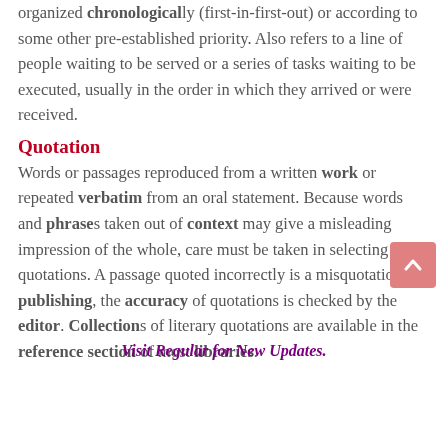organized chronologically (first-in-first-out) or according to some other pre-established priority. Also refers to a line of people waiting to be served or a series of tasks waiting to be executed, usually in the order in which they arrived or were received.
Quotation
Words or passages reproduced from a written work or repeated verbatim from an oral statement. Because words and phrases taken out of context may give a misleading impression of the whole, care must be taken in selecting quotations. A passage quoted incorrectly is a misquotation. In publishing, the accuracy of quotations is checked by the editor. Collections of literary quotations are available in the reference section of most libraries.
Visit Regular for New Updates.